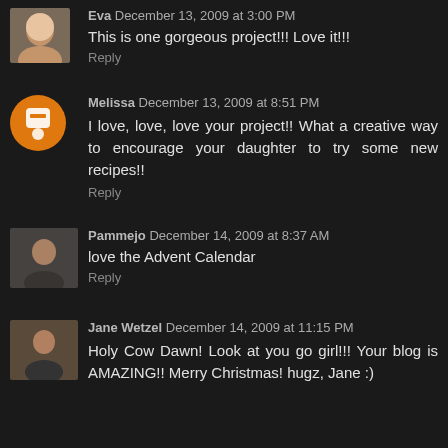Eva December 13, 2009 at 3:00 PM
This is one gorgeous project!!! Love it!!!
Reply
Melissa December 13, 2009 at 8:51 PM
I love, love, love your project!! What a creative way to encourage your daughter to try some new recipes!!
Reply
Pammejo December 14, 2009 at 8:37 AM
love the Advent Calendar
Reply
Jane Wetzel December 14, 2009 at 11:15 PM
Holy Cow Dawn! Look at you go girl!!! Your blog is AMAZING!! Merry Christmas! hugz, Jane :)